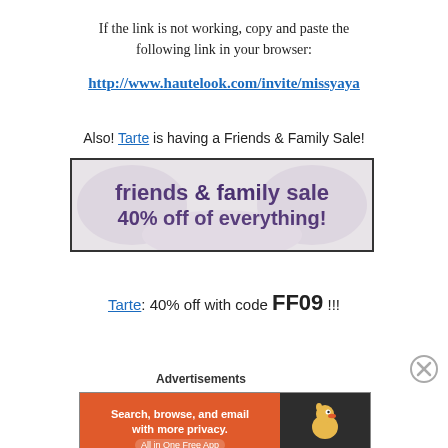If the link is not working, copy and paste the following link in your browser:
http://www.hautelook.com/invite/missyaya
Also! Tarte is having a Friends & Family Sale!
[Figure (illustration): Tarte Friends & Family Sale banner: 'friends & family sale 40% off of everything!']
Tarte: 40% off with code FF09 !!!
Advertisements
[Figure (illustration): DuckDuckGo advertisement: Search, browse, and email with more privacy. All in One Free App. DuckDuckGo logo.]